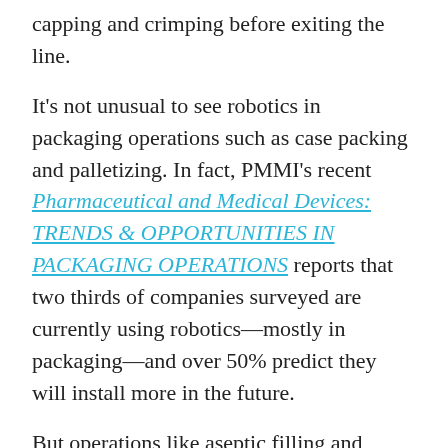capping and crimping before exiting the line.
It’s not unusual to see robotics in packaging operations such as case packing and palletizing. In fact, PMMI’s recent Pharmaceutical and Medical Devices: TRENDS & OPPORTUNITIES IN PACKAGING OPERATIONS reports that two thirds of companies surveyed are currently using robotics—mostly in packaging—and over 50% predict they will install more in the future.
But operations like aseptic filling and capping are precise tasks with many nuances. The use of robotics in these steps is not something seen every day in the pharmaceutical sphere.
The search for a robotic system